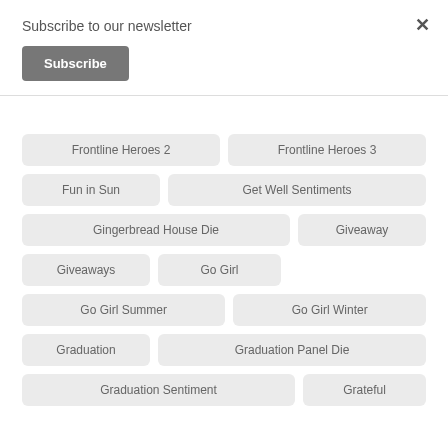Subscribe to our newsletter
Subscribe
×
Frontline Heroes 2
Frontline Heroes 3
Fun in Sun
Get Well Sentiments
Gingerbread House Die
Giveaway
Giveaways
Go Girl
Go Girl Summer
Go Girl Winter
Graduation
Graduation Panel Die
Graduation Sentiment
Grateful